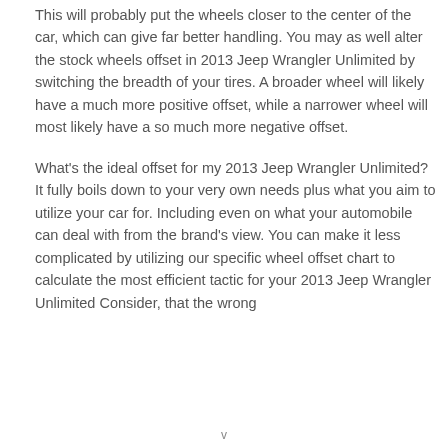This will probably put the wheels closer to the center of the car, which can give far better handling. You may as well alter the stock wheels offset in 2013 Jeep Wrangler Unlimited by switching the breadth of your tires. A broader wheel will likely have a much more positive offset, while a narrower wheel will most likely have a so much more negative offset.
What's the ideal offset for my 2013 Jeep Wrangler Unlimited? It fully boils down to your very own needs plus what you aim to utilize your car for. Including even on what your automobile can deal with from the brand's view. You can make it less complicated by utilizing our specific wheel offset chart to calculate the most efficient tactic for your 2013 Jeep Wrangler Unlimited Consider, that the wrong
v